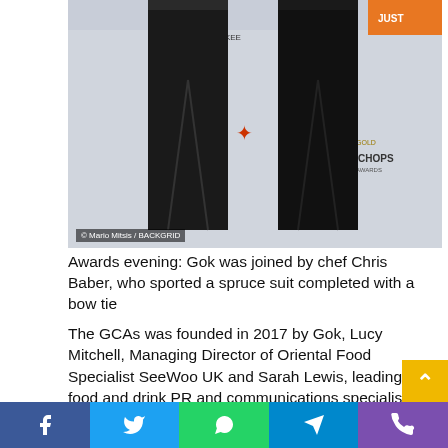[Figure (photo): Two people in black suits standing in front of a sponsor/awards backdrop at an awards evening event. A watermark reads '© Mario Mitsis / BACKGRID'.]
Awards evening: Gok was joined by chef Chris Baber, who sported a spruce suit completed with a bow tie
The GCAs was founded in 2017 by Gok, Lucy Mitchell, Managing Director of Oriental Food Specialist SeeWoo UK and Sarah Lewis, leading food and drink PR and communications specialist.
In January 2018, the very first GCAs campaign launched across the UK with 6 weeks of public voting – and it proved to be a sell out.
Some of the award categories include: The Golden